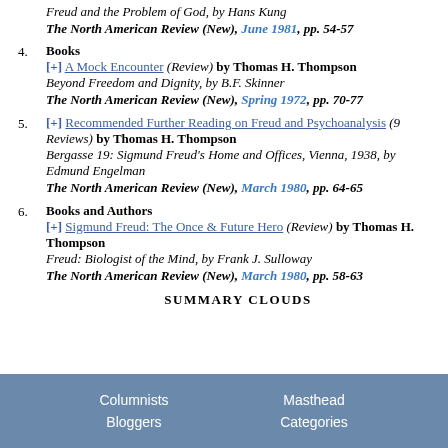Freud and the Problem of God, by Hans Kung The North American Review (New), June 1981, pp. 54-57
4. Books [+] A Mock Encounter (Review) by Thomas H. Thompson Beyond Freedom and Dignity, by B.F. Skinner The North American Review (New), Spring 1972, pp. 70-77
5. [+] Recommended Further Reading on Freud and Psychoanalysis (9 Reviews) by Thomas H. Thompson Bergasse 19: Sigmund Freud's Home and Offices, Vienna, 1938, by Edmund Engelman The North American Review (New), March 1980, pp. 64-65
6. Books and Authors [+] Sigmund Freud: The Once & Future Hero (Review) by Thomas H. Thompson Freud: Biologist of the Mind, by Frank J. Sulloway The North American Review (New), March 1980, pp. 58-63
SUMMARY CLOUDS
Columnists  Masthead  Bloggers  Categories